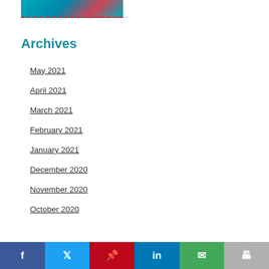[Figure (illustration): Partial view of a colorful educational/crafting image with teal and red tones, shown at the top of the page]
Archives
May 2021
April 2021
March 2021
February 2021
January 2021
December 2020
November 2020
October 2020
f  Twitter  Pinterest  in  Email  Print